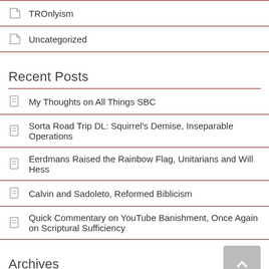TROnlyism
Uncategorized
Recent Posts
My Thoughts on All Things SBC
Sorta Road Trip DL: Squirrel's Demise, Inseparable Operations
Eerdmans Raised the Rainbow Flag, Unitarians and Will Hess
Calvin and Sadoleto, Reformed Biblicism
Quick Commentary on YouTube Banishment, Once Again on Scriptural Sufficiency
Archives